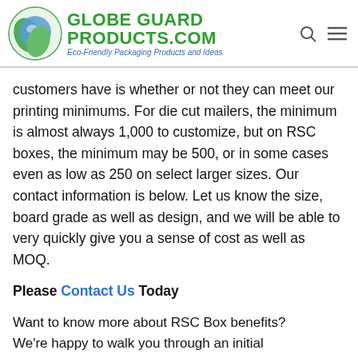Globe Guard Products.com — Eco-Friendly Packaging Products and Ideas
customers have is whether or not they can meet our printing minimums. For die cut mailers, the minimum is almost always 1,000 to customize, but on RSC boxes, the minimum may be 500, or in some cases even as low as 250 on select larger sizes. Our contact information is below. Let us know the size, board grade as well as design, and we will be able to very quickly give you a sense of cost as well as MOQ.
Please Contact Us Today
Want to know more about RSC Box benefits? We're happy to walk you through an initial